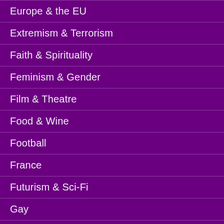Europe & the EU
Extremism & Terrorism
Faith & Spirituality
Feminism & Gender
Film & Theatre
Food & Wine
Football
France
Futurism & Sci-Fi
Gay
Health
History & Culture